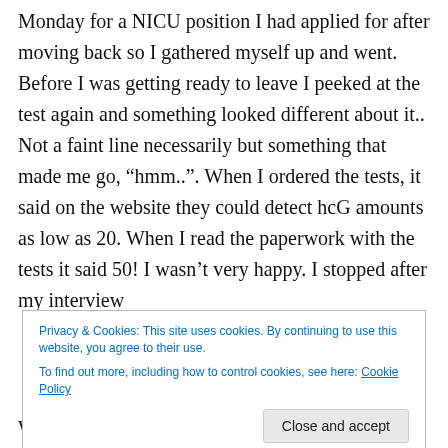Monday for a NICU position I had applied for after moving back so I gathered myself up and went. Before I was getting ready to leave I peeked at the test again and something looked different about it.. Not a faint line necessarily but something that made me go, “hmm..”. When I ordered the tests, it said on the website they could detect hcG amounts as low as 20. When I read the paperwork with the tests it said 50! I wasn’t very happy. I stopped after my interview
Privacy & Cookies: This site uses cookies. By continuing to use this website, you agree to their use. To find out more, including how to control cookies, see here: Cookie Policy
Well, since I’m so incredibly patient..I was on the